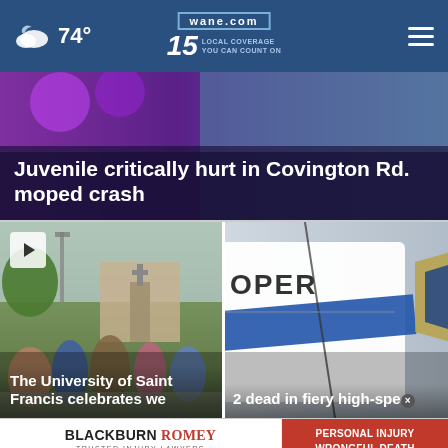74° wane.com 15 LOCAL COVERAGE YOU CAN COUNT ON
Juvenile critically hurt in Covington Rd. moped crash
[Figure (photo): News article thumbnail with play button showing crowd scene at The University of Saint Francis]
The University of Saint Francis celebrates we[lcome week]
[Figure (photo): Police trooper vehicle close-up, news thumbnail for story about 2 dead in fiery high-speed crash]
2 dead in fiery high-speed [crash]
[Figure (other): Advertisement for Blackburn Romey Trusted Injury Lawyers - 833.FOR HELP - Personal Injury Wrongful Death Free Consultations]